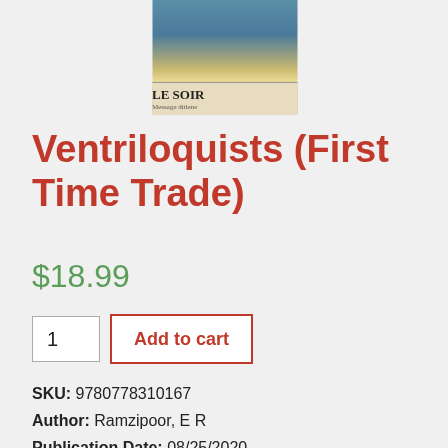[Figure (photo): Book cover of Ventriloquists (First Time Trade) showing a newspaper called 'LE SOIR' with figures above against a blue sky background]
Ventriloquists (First Time Trade)
$18.99
1  Add to cart
SKU: 9780778310167
Author: Ramzipoor, E R
Publication Date: 08/25/2020
Publisher: Park Row
Binding: Paperback   Media: Book